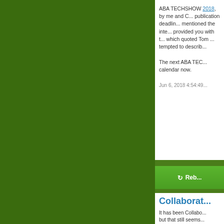[Figure (screenshot): Green background panel on left side of page]
ABA TECHSHOW 2018, by me and C... publication deadline... mentioned the inte... provided you with t... which quoted Tom ... tempted to describ...
The next ABA TEC... calendar now.
Jun 6, 2018 4:54:49...
Reblog
Collaborat...
It has been Collabo... but that still seems...